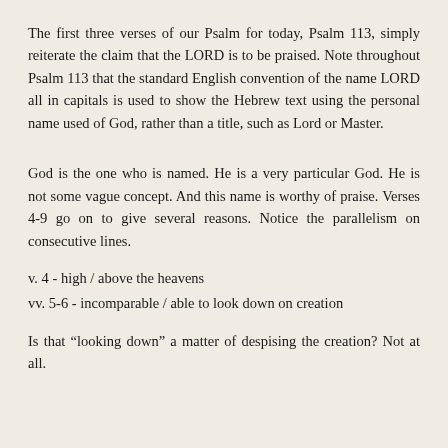The first three verses of our Psalm for today, Psalm 113, simply reiterate the claim that the LORD is to be praised. Note throughout Psalm 113 that the standard English convention of the name LORD all in capitals is used to show the Hebrew text using the personal name used of God, rather than a title, such as Lord or Master.
God is the one who is named. He is a very particular God. He is not some vague concept. And this name is worthy of praise. Verses 4-9 go on to give several reasons. Notice the parallelism on consecutive lines.
v. 4 - high / above the heavens
vv. 5-6 - incomparable / able to look down on creation
Is that “looking down” a matter of despising the creation? Not at all.